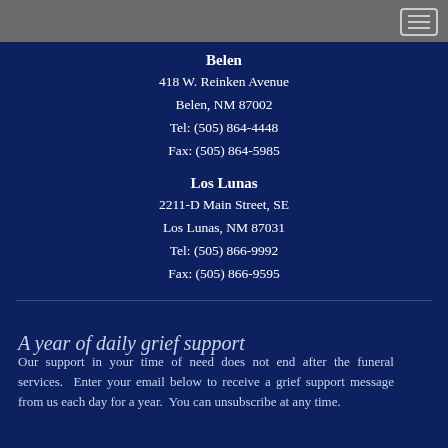Belen
418 W. Reinken Avenue
Belen, NM 87002
Tel: (505) 864-4448
Fax: (505) 864-5985
Los Lunas
2211-D Main Street, SE
Los Lunas, NM 87031
Tel: (505) 866-9992
Fax: (505) 866-9595
A year of daily grief support
Our support in your time of need does not end after the funeral services.  Enter your email below to receive a grief support message from us each day for a year.  You can unsubscribe at any time.